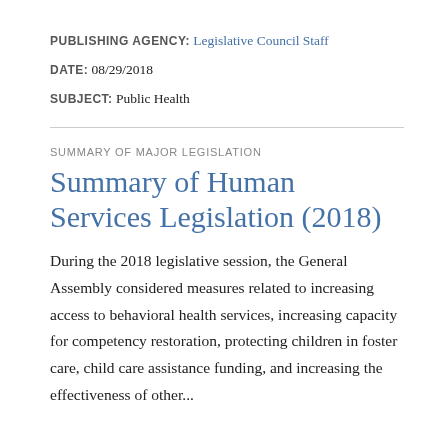PUBLISHING AGENCY: Legislative Council Staff
DATE: 08/29/2018
SUBJECT: Public Health
SUMMARY OF MAJOR LEGISLATION
Summary of Human Services Legislation (2018)
During the 2018 legislative session, the General Assembly considered measures related to increasing access to behavioral health services, increasing capacity for competency restoration, protecting children in foster care, child care assistance funding, and increasing the effectiveness of other...